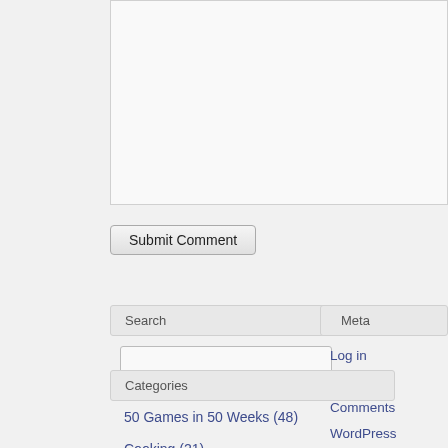[Figure (screenshot): Textarea input box (comment area), partially visible, light gray background]
Submit Comment
Search
[Figure (screenshot): Search text input field]
Meta
Log in
Entries fee
Comments
WordPress
Categories
50 Games in 50 Weeks (48)
Cooking (21)
Gardening (6)
Make Something Every Week (1)